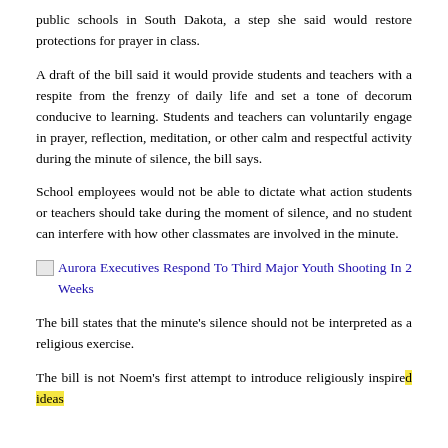public schools in South Dakota, a step she said would restore protections for prayer in class.
A draft of the bill said it would provide students and teachers with a respite from the frenzy of daily life and set a tone of decorum conducive to learning. Students and teachers can voluntarily engage in prayer, reflection, meditation, or other calm and respectful activity during the minute of silence, the bill says.
School employees would not be able to dictate what action students or teachers should take during the moment of silence, and no student can interfere with how other classmates are involved in the minute.
Aurora Executives Respond To Third Major Youth Shooting In 2 Weeks
The bill states that the minute's silence should not be interpreted as a religious exercise.
The bill is not Noem's first attempt to introduce religiously inspired ideas